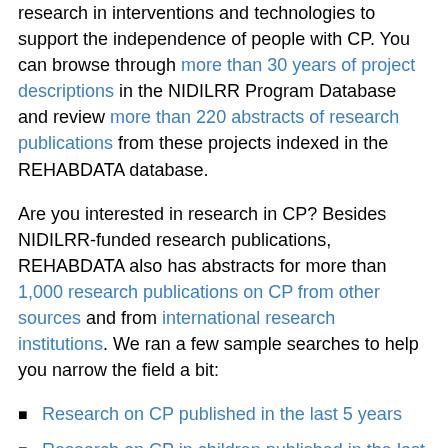research in interventions and technologies to support the independence of people with CP. You can browse through more than 30 years of project descriptions in the NIDILRR Program Database and review more than 220 abstracts of research publications from these projects indexed in the REHABDATA database.
Are you interested in research in CP? Besides NIDILRR-funded research publications, REHABDATA also has abstracts for more than 1,000 research publications on CP from other sources and from international research institutions. We ran a few sample searches to help you narrow the field a bit:
Research on CP published in the last 5 years
Research on CP in children published in the last 10 years